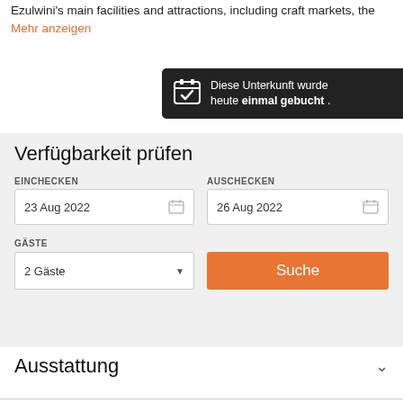Ezulwini's main facilities and attractions, including craft markets, the
Mehr anzeigen
[Figure (screenshot): Toast notification popup with calendar icon saying 'Diese Unterkunft wurde heute einmal gebucht .' with a close X button, dark background]
Verfügbarkeit prüfen
EINCHECKEN
23 Aug 2022
AUSCHECKEN
26 Aug 2022
GÄSTE
2 Gäste
Suche
Ausstattung